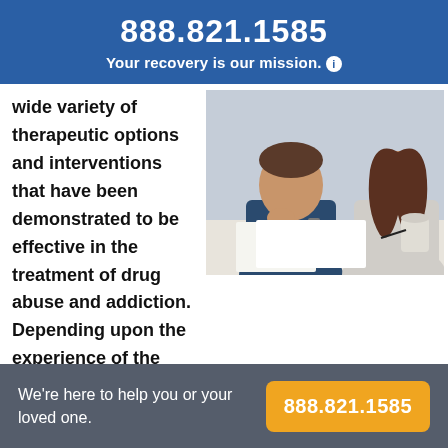888.821.1585
Your recovery is our mission.
wide variety of therapeutic options and interventions that have been demonstrated to be effective in the treatment of drug abuse and addiction. Depending upon the experience of the patient during active addiction as well as her goals for treatment and beyond, different therapies may be more or less appropriate.
[Figure (photo): Two people (a man and a woman) sitting at a table, reviewing documents together in a consultation setting.]
We're here to help you or your loved one.
888.821.1585